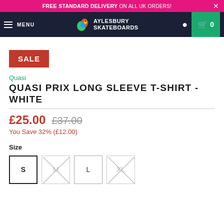FREE STANDARD DELIVERY ON ALL UK ORDERS!
[Figure (logo): Aylesbury Skateboards logo with colorful bird and text]
SALE
Quasi
QUASI PRIX LONG SLEEVE T-SHIRT - WHITE
£25.00 £37.00 You Save 32% (£12.00)
Size
S M L XL